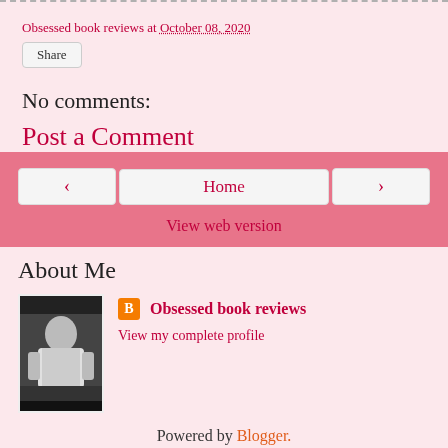Obsessed book reviews at October 08, 2020
Share
No comments:
Post a Comment
‹
Home
›
View web version
About Me
[Figure (photo): Profile photo of Obsessed book reviews blogger - person standing outdoors]
Obsessed book reviews
View my complete profile
Powered by Blogger.